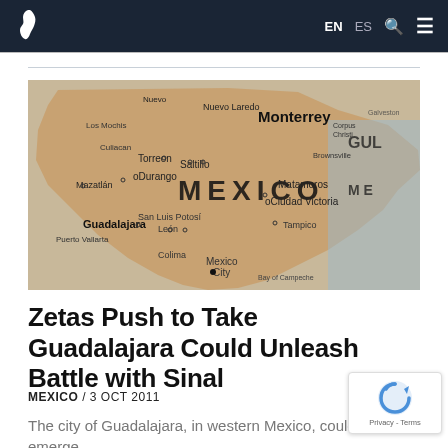EN ES [search] [menu]
[Figure (map): Physical map of Mexico showing major cities including Monterrey, Guadalajara, Mexico City, Durango, Saltillo, Mazatlán, Tampico, Puerto Vallarta, León, San Luis Potosí, and others. Gulf of Mexico visible on right side.]
Zetas Push to Take Guadalajara Could Unleash Battle with Sinal
MEXICO / 3 OCT 2011
The city of Guadalajara, in western Mexico, could emerge